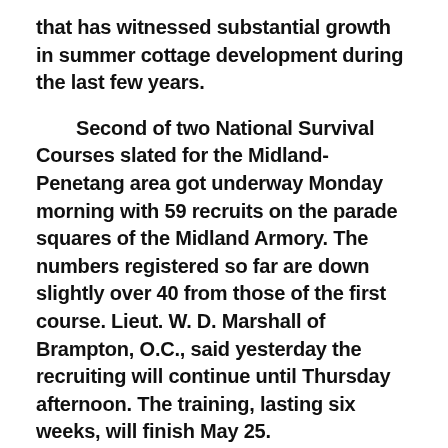that has witnessed substantial growth in summer cottage development during the last few years.
Second of two National Survival Courses slated for the Midland-Penetang area got underway Monday morning with 59 recruits on the parade squares of the Midland Armory. The numbers registered so far are down slightly over 40 from those of the first course. Lieut. W. D. Marshall of Brampton, O.C., said yesterday the recruiting will continue until Thursday afternoon. The training, lasting six weeks, will finish May 25.
Prime Minister John Diefenbaker announced yesterday that a federal general election will be held Monday, June 18. It is expected that the 24th Parliament will be dissolved by Governor-